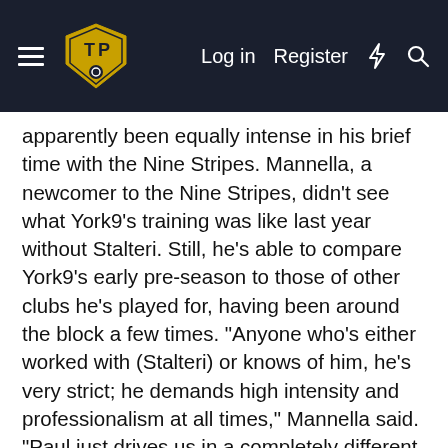TTP logo navigation bar with Log in, Register, and icon links
apparently been equally intense in his brief time with the Nine Stripes. Mannella, a newcomer to the Nine Stripes, didn't see what York9's training was like last year without Stalteri. Still, he's able to compare York9's early pre-season to those of other clubs he's played for, having been around the block a few times. "Anyone who's either worked with (Stalteri) or knows of him, he's very strict; he demands high intensity and professionalism at all times," Mannella said. "Paul just drives us in a completely different direction, he's always on top of us no matter what we're doing. His career speaks for itself, if you look at a guy like him he knows what it takes to be at the top level for a long time so obviously you're gonna take whatever you can. "He demands this high tempo, high standard from everyone, and it's been really intense, to be honest. I've